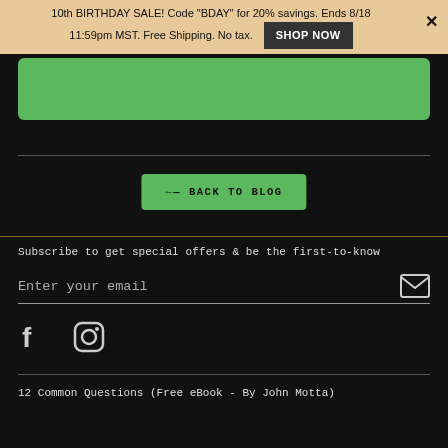10th BIRTHDAY SALE! Code "BDAY" for 20% savings. Ends 8/18 11:59pm MST. Free Shipping. No tax.
[Figure (other): Green rounded rectangle content box near top of page]
[Figure (other): Back To Blog button with left arrow, green background]
Subscribe to get special offers & be the first-to-know
Enter your email
[Figure (other): Facebook icon (f) and Instagram icon in white outline style]
12 Common Questions (Free eBook - By John Motta)